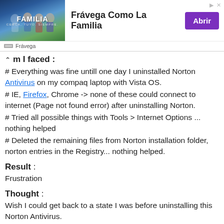[Figure (other): Advertisement banner for Frávega Como La Familia with a group photo and purple 'Abrir' button]
m I faced :
# Everything was fine untill one day I uninstalled Norton Antivirus on my compaq laptop with Vista OS.
# IE, Firefox, Chrome -> none of these could connect to internet (Page not found error) after uninstalling Norton.
# Tried all possible things with Tools > Internet Options ... nothing helped
# Deleted the remaining files from Norton installation folder, norton entries in the Registry... nothing helped.
Result :
Frustration
Thought :
Wish I could get back to a state I was before uninstalling this Norton Antivirus.